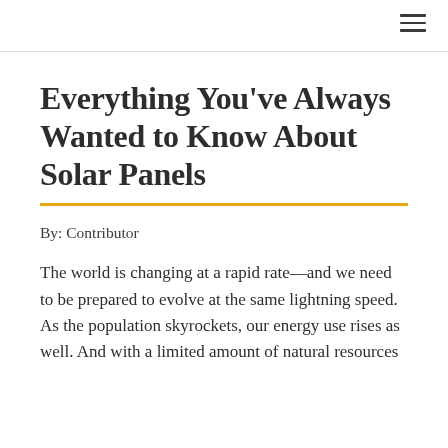Everything You've Always Wanted to Know About Solar Panels
By: Contributor
The world is changing at a rapid rate—and we need to be prepared to evolve at the same lightning speed. As the population skyrockets, our energy use rises as well. And with a limited amount of natural resources